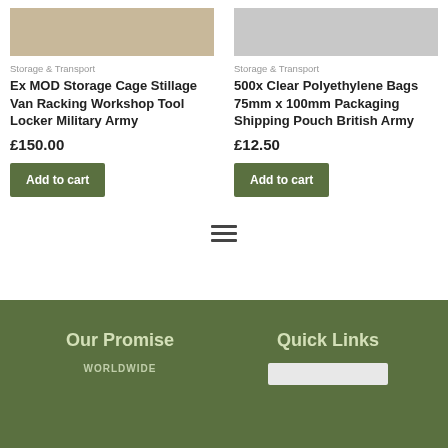Storage & Transport
Ex MOD Storage Cage Stillage Van Racking Workshop Tool Locker Military Army
£150.00
Add to cart
Storage & Transport
500x Clear Polyethylene Bags 75mm x 100mm Packaging Shipping Pouch British Army
£12.50
Add to cart
[Figure (other): Hamburger menu icon with three horizontal lines]
Our Promise
Quick Links
WORLDWIDE